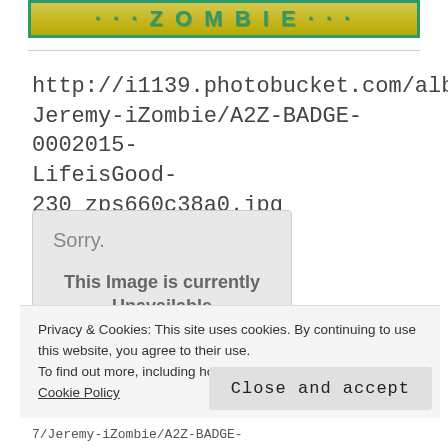[Figure (screenshot): Yellow/gold banner with green border, partially visible text in stylized font]
http://i1139.photobucket.com/albums/n547/Jeremy-iZombie/A2Z-BADGE-0002015-LifeisGood-230_zps660c38a0.jpg
[Figure (screenshot): Image placeholder box with text: Sorry. This Image is currently Unavailable]
Privacy & Cookies: This site uses cookies. By continuing to use this website, you agree to their use.
To find out more, including how to control cookies, see here: Cookie Policy
Close and accept
7/Jeremy-iZombie/A2Z-BADGE-